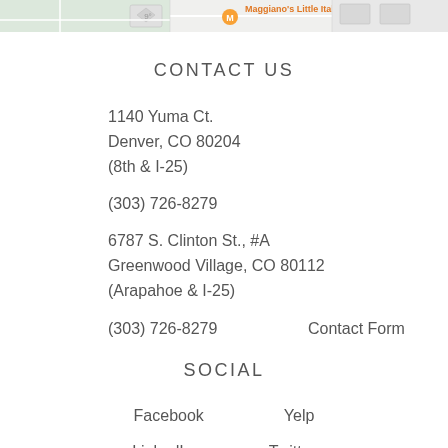[Figure (screenshot): Partial Google Maps screenshot showing a map strip with Maggiano's Little Italy label in orange]
CONTACT US
1140 Yuma Ct.
Denver, CO 80204
(8th & I-25)
(303) 726-8279
6787 S. Clinton St., #A
Greenwood Village, CO 80112
(Arapahoe & I-25)
(303) 726-8279    Contact Form
SOCIAL
Facebook    Yelp
LinkedIn    Twitter